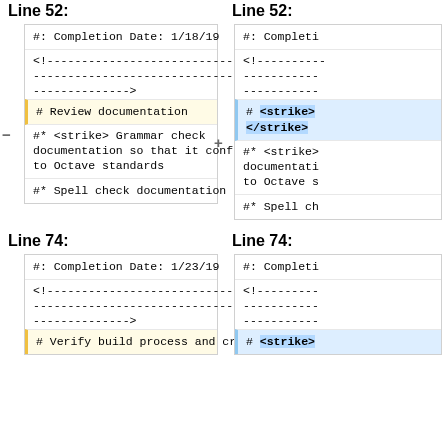Line 52:
#: Completion Date: 1/18/19
<!----------------------------------
----------------------------------
-------------->
# Review documentation
#* <strike> Grammar check documentation so that it conforms to Octave standards
#* Spell check documentation
Line 52:
#: Completi
<!---------
-----------
-----------
# <strike> </strike>
#* <strike> documentati to Octave s
#* Spell ch
Line 74:
#: Completion Date: 1/23/19
<!----------------------------------
----------------------------------
-------------->
# Verify build process and create
Line 74:
#: Completi
<!---------
-----------
-----------
# <strike>